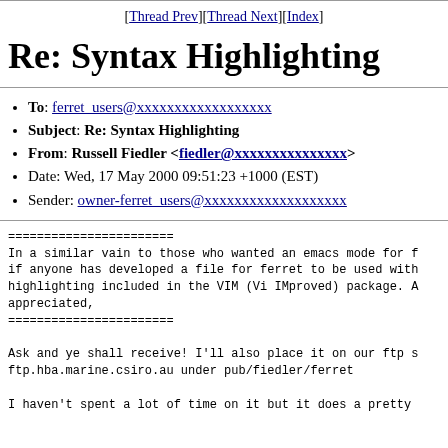[Thread Prev][Thread Next][Index]
Re: Syntax Highlighting
To: ferret_users@xxxxxxxxxxxxxxxxxx
Subject: Re: Syntax Highlighting
From: Russell Fiedler <fiedler@xxxxxxxxxxxxxxx>
Date: Wed, 17 May 2000 09:51:23 +1000 (EST)
Sender: owner-ferret_users@xxxxxxxxxxxxxxxxxxx
=======================
In a similar vain to those who wanted an emacs mode for f
if anyone has developed a file for ferret to be used with
highlighting included in the VIM (Vi IMproved) package. A
appreciated,
=======================

Ask and ye shall receive! I'll also place it on our ftp s
ftp.hba.marine.csiro.au under pub/fiedler/ferret

I haven't spent a lot of time on it but it does a pretty